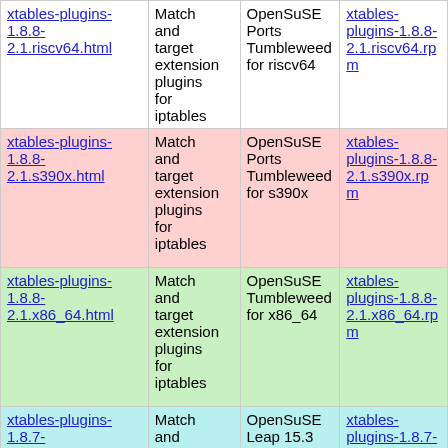| xtables-plugins-1.8.8-2.1.riscv64.html | Match and target extension plugins for iptables | OpenSuSE Ports Tumbleweed for riscv64 | xtables-plugins-1.8.8-2.1.riscv64.rpm |
| xtables-plugins-1.8.8-2.1.s390x.html | Match and target extension plugins for iptables | OpenSuSE Ports Tumbleweed for s390x | xtables-plugins-1.8.8-2.1.s390x.rpm |
| xtables-plugins-1.8.8-2.1.x86_64.html | Match and target extension plugins for iptables | OpenSuSE Tumbleweed for x86_64 | xtables-plugins-1.8.8-2.1.x86_64.rpm |
| xtables-plugins-1.8.7-1.1.aarch64.html | Match and target extension plugins for | OpenSuSE Leap 15.3 for aarch64 | xtables-plugins-1.8.7-1.1.aarch64.rpm |